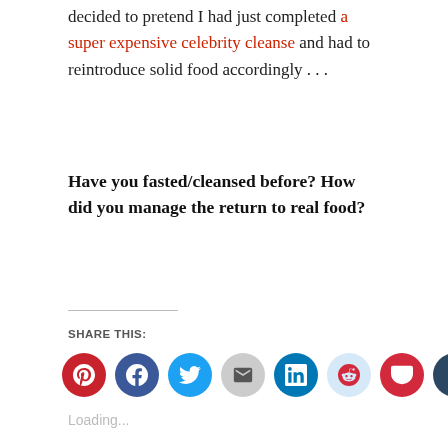decided to pretend I had just completed a super expensive celebrity cleanse and had to reintroduce solid food accordingly . . .
Have you fasted/cleansed before? How did you manage the return to real food?
SHARE THIS:
[Figure (infographic): Row of social sharing icon buttons: Pinterest (red), Facebook (blue), Twitter (light blue), Email (grey), LinkedIn (dark blue), Reddit (light blue), Pocket (red), Tumblr (dark navy), Print (grey)]
Loading...
RELATED
[Figure (photo): Photo of shrimp and fruit on a white plate]
[Figure (photo): Photo of soup in a white bowl with toast on the side]